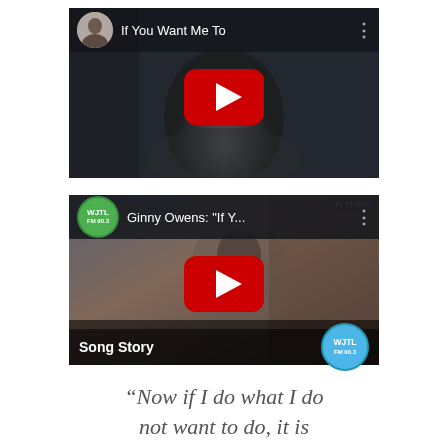[Figure (screenshot): YouTube video thumbnail for 'If You Want Me To' showing a woman's close-up face in dark/grayscale, with video title in top bar, play button overlay, and channel avatar.]
[Figure (screenshot): YouTube video thumbnail for Ginny Owens: 'If Y...' from WJTL 90.3 station, showing a person being interviewed, Song Story lower-third bar with WJTL logo, and green WJTL badge in header.]
“Now if I do what I do not want to do, it is